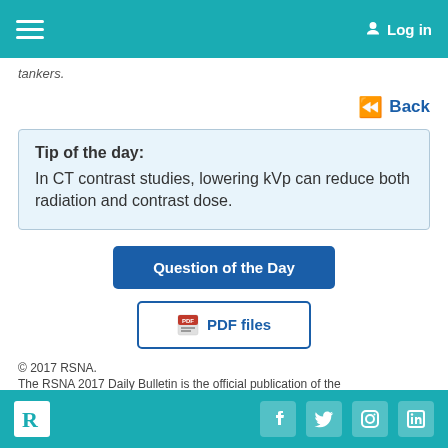Log in
tankers.
Back
Tip of the day: In CT contrast studies, lowering kVp can reduce both radiation and contrast dose.
Question of the Day
PDF files
© 2017 RSNA. The RSNA 2017 Daily Bulletin is the official publication of the